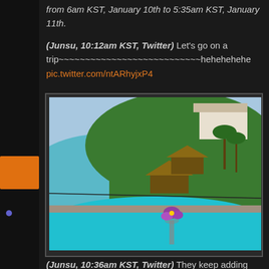from 6am KST, January 10th to 5:35am KST, January 11th.
(Junsu, 10:12am KST, Twitter) Let's go on a trip~~~~~~~~~~~~~~~~~~~~~~~~~~~hehehehehe pic.twitter.com/ntARhyjxP4
[Figure (photo): Tropical resort photo showing a hillside with thatched-roof bungalows overlooking the ocean, with a turquoise infinity pool in the foreground and a purple orchid flower in a glass vase]
(Junsu, 10:36am KST, Twitter) They keep adding syrup